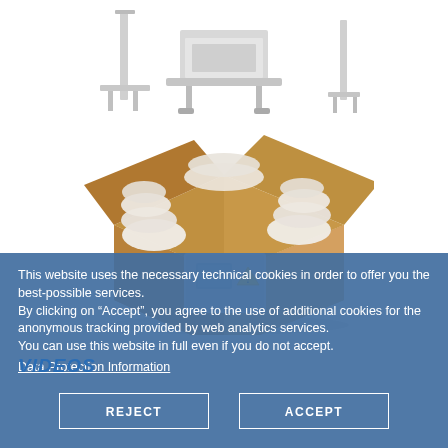[Figure (photo): Top portion showing industrial machinery equipment parts on white background — conveyor/checkweigher equipment visible on left, center, and right]
[Figure (photo): Open cardboard shipping box with inflatable air cushion packaging containing a checkweigher control panel unit with touch screen and warning label]
This website uses the necessary technical cookies in order to offer you the best-possible services.
By clicking on “Accept”, you agree to the use of additional cookies for the anonymous tracking provided by web analytics services.
You can use this website in full even if you do not accept.
VIDEOS
Data Protection Information
REJECT
ACCEPT